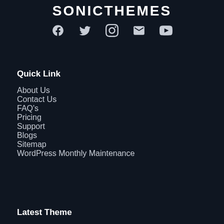SONICTHEMES
[Figure (infographic): Social media icons: Facebook, Twitter, Instagram, Email, YouTube]
Quick Link
About Us
Contact Us
FAQ's
Pricing
Support
Blogs
Sitemap
WordPress Monthly Maintenance
Latest Theme